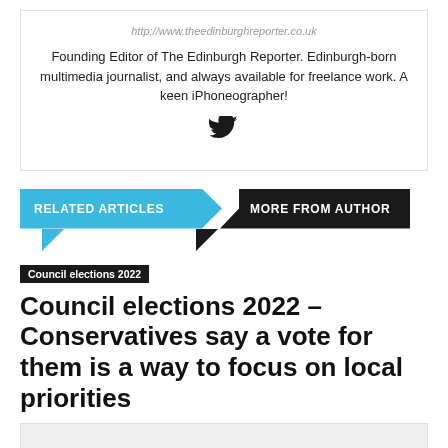http://www.theedinburghreporter.co.uk
Founding Editor of The Edinburgh Reporter. Edinburgh-born multimedia journalist, and always available for freelance work. A keen iPhoneographer!
[Figure (logo): Twitter bird icon]
RELATED ARTICLES   MORE FROM AUTHOR
Council elections 2022
Council elections 2022 – Conservatives say a vote for them is a way to focus on local priorities